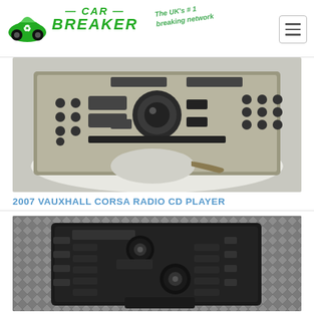CAR BREAKER — The UK's #1 breaking network
[Figure (photo): Photo of a 2007 Vauxhall Corsa radio CD player unit, beige/silver colored with multiple buttons and a central control knob, on a white surface]
2007 VAUXHALL CORSA RADIO CD PLAYER
[Figure (photo): Photo of a black car radio/CD player unit with multiple buttons and two circular knobs, placed on a metal diamond-plate surface]